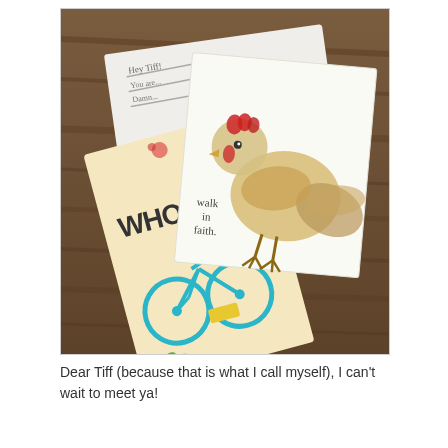[Figure (photo): Photo of cards and envelopes on a wooden table. Includes a card with a chicken/rooster watercolor illustration and 'walk in faith' text, a decorative card with a teal bicycle, and a white envelope with handwritten notes.]
Dear Tiff (because that is what I call myself), I can't wait to meet ya!